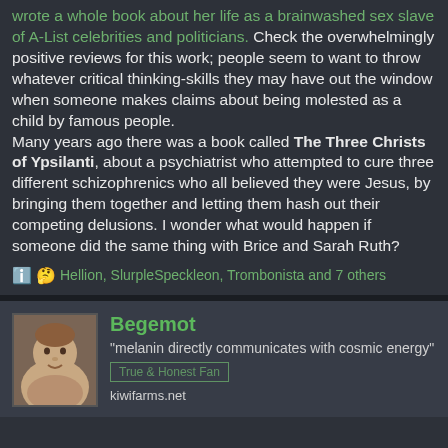wrote a whole book about her life as a brainwashed sex slave of A-List celebrities and politicians. Check the overwhelmingly positive reviews for this work; people seem to want to throw whatever critical thinking-skills they may have out the window when someone makes claims about being molested as a child by famous people.
Many years ago there was a book called The Three Christs of Ypsilanti, about a psychiatrist who attempted to cure three different schizophrenics who all believed they were Jesus, by bringing them together and letting them hash out their competing delusions. I wonder what would happen if someone did the same thing with Brice and Sarah Ruth?
Hellion, SlurpleSpeckleon, Trombonista and 7 others
Begemot
"melanin directly communicates with cosmic energy"
kiwifarms.net